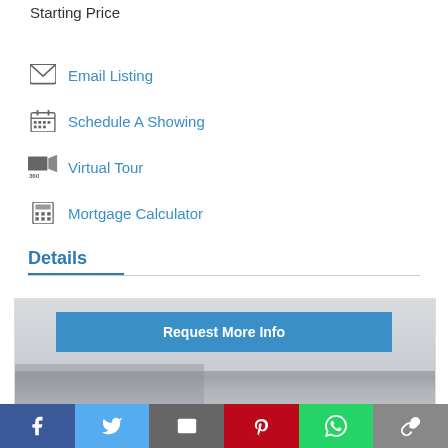Starting Price
Email Listing
Schedule A Showing
Virtual Tour
Mortgage Calculator
Details
[Figure (photo): Interior room photo showing white/grey walls and ceiling of a modern space]
Request More Info